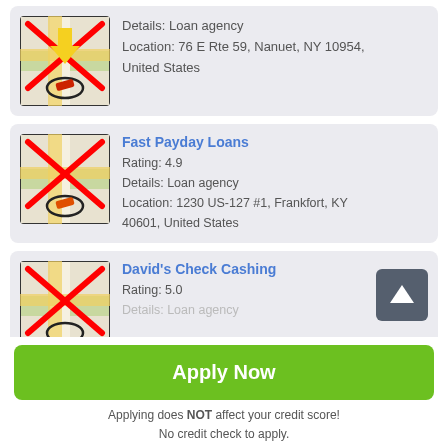[Figure (screenshot): Map thumbnail with red X overlay and map pin icon for first listing]
Details: Loan agency
Location: 76 E Rte 59, Nanuet, NY 10954, United States
[Figure (screenshot): Map thumbnail with red X overlay for Fast Payday Loans]
Fast Payday Loans
Rating: 4.9
Details: Loan agency
Location: 1230 US-127 #1, Frankfort, KY 40601, United States
[Figure (screenshot): Map thumbnail with red X overlay for David's Check Cashing]
David's Check Cashing
Rating: 5.0
Details: Loan agency
Apply Now
Applying does NOT affect your credit score!
No credit check to apply.